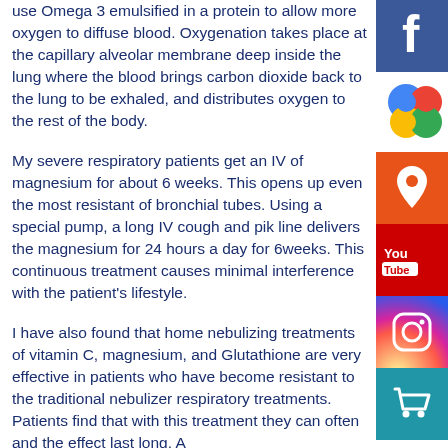use Omega 3 emulsified in a protein to allow more oxygen to diffuse blood. Oxygenation takes place at the capillary alveolar membrane deep inside the lung where the blood brings carbon dioxide back to the lung to be exhaled, and distributes oxygen to the rest of the body.
My severe respiratory patients get an IV of magnesium for about 6 weeks. This opens up even the most resistant of bronchial tubes. Using a special pump, a long IV cough and pik line delivers the magnesium for 24 hours a day for 6weeks. This continuous treatment causes minimal interference with the patient's lifestyle.
I have also found that home nebulizing treatments of vitamin C, magnesium, and Glutathione are very effective in patients who have become resistant to the traditional nebulizer respiratory treatments. Patients find that with this treatment they can often and the effect last long. A
[Figure (infographic): Vertical sidebar with social media icons: Facebook (blue), Google+ (multicolor), Google Maps (orange pin), YouTube (red), Instagram (pink/purple), Shopping cart (teal)]